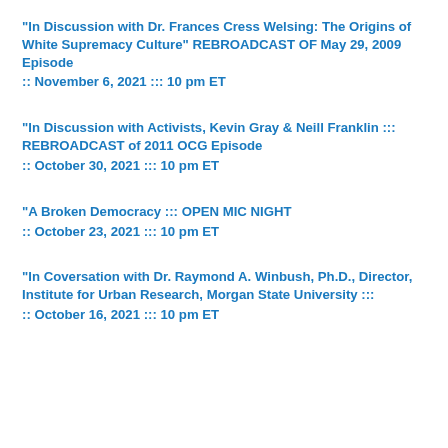"In Discussion with Dr. Frances Cress Welsing: The Origins of White Supremacy Culture" REBROADCAST OF May 29, 2009 Episode
:: November 6, 2021 ::: 10 pm ET
"In Discussion with Activists, Kevin Gray & Neill Franklin ::: REBROADCAST of 2011 OCG Episode
:: October 30, 2021 ::: 10 pm ET
"A Broken Democracy ::: OPEN MIC NIGHT
:: October 23, 2021 ::: 10 pm ET
"In Coversation with Dr. Raymond A. Winbush, Ph.D., Director, Institute for Urban Research, Morgan State University :::
:: October 16, 2021 ::: 10 pm ET